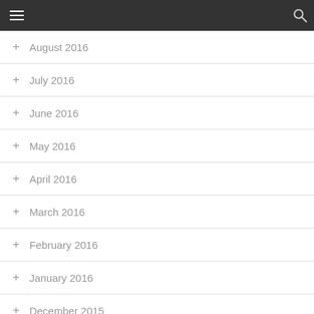Navigation menu header bar
+ August 2016
+ July 2016
+ June 2016
+ May 2016
+ April 2016
+ March 2016
+ February 2016
+ January 2016
+ December 2015